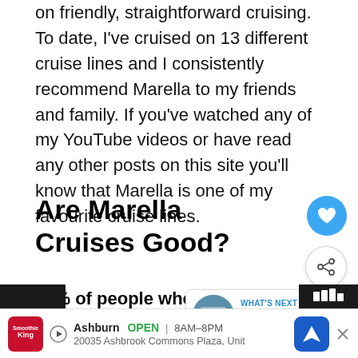Marella Cruises are a British cruise line who focus on friendly, straightforward cruising. To date, I've cruised on 13 different cruise lines and I consistently recommend Marella to my friends and family. If you've watched any of my YouTube videos or have read any other posts on this site you'll know that Marella is one of my favourite cruise lines.
Are Marella Cruises Good?
86% of people who have cruised with Marella rate them as being a good cruise line. They enjoy the all-inclusive pricing structure and the on board experience which is geared towards British holidaymakers.
ards B...